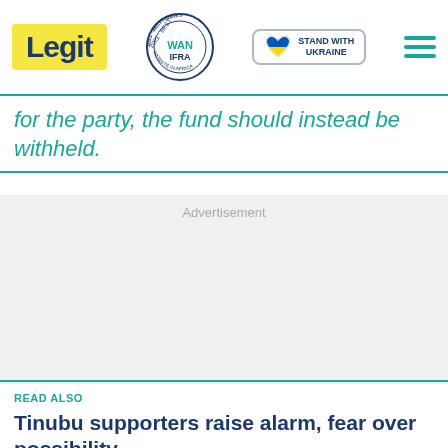Legit | WAN-IFRA 2021 Best News Website in Africa | Stand With Ukraine
for the party, the fund should instead be withheld.
Advertisement
READ ALSO
Tinubu supporters raise alarm, fear over possibility